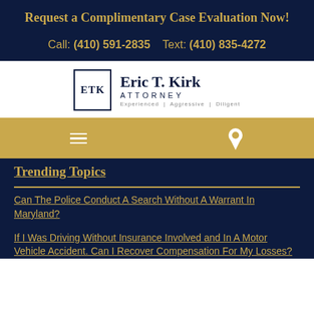Request a Complimentary Case Evaluation Now!
Call: (410) 591-2835     Text: (410) 835-4272
[Figure (logo): ETK logo with box and text 'Eric T. Kirk ATTORNEY Experienced | Aggressive | Diligent']
[Figure (infographic): Gold navigation bar with hamburger menu icon and map pin icon]
Trending Topics
Can The Police Conduct A Search Without A Warrant In Maryland?
If I Was Driving Without Insurance Involved and In A Motor Vehicle Accident. Can I Recover Compensation For My Losses?